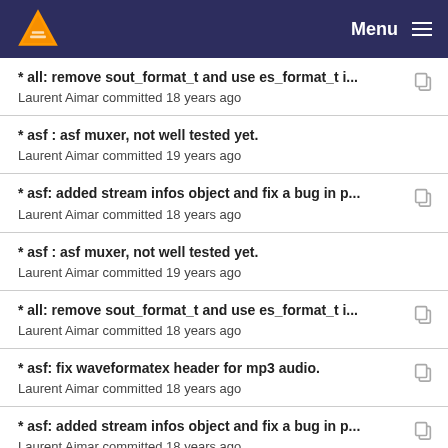VLC Menu
* all: remove sout_format_t and use es_format_t i...
Laurent Aimar committed 18 years ago
* asf : asf muxer, not well tested yet.
Laurent Aimar committed 19 years ago
* asf: added stream infos object and fix a bug in p...
Laurent Aimar committed 18 years ago
* asf : asf muxer, not well tested yet.
Laurent Aimar committed 19 years ago
* all: remove sout_format_t and use es_format_t i...
Laurent Aimar committed 18 years ago
* asf: fix waveformatex header for mp3 audio.
Laurent Aimar committed 18 years ago
* asf: added stream infos object and fix a bug in p...
Laurent Aimar committed 18 years ago